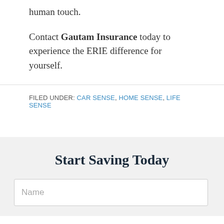human touch.
Contact Gautam Insurance today to experience the ERIE difference for yourself.
FILED UNDER: CAR SENSE, HOME SENSE, LIFE SENSE
Start Saving Today
Name